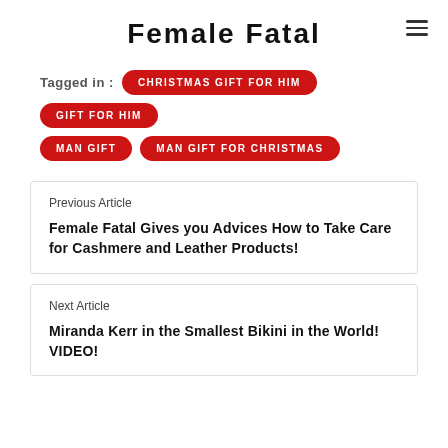Female Fatal
Tagged in : CHRISTMAS GIFT FOR HIM   GIFT FOR HIM   MAN GIFT   MAN GIFT FOR CHRISTMAS
Previous Article
Female Fatal Gives you Advices How to Take Care for Cashmere and Leather Products!
Next Article
Miranda Kerr in the Smallest Bikini in the World! VIDEO!